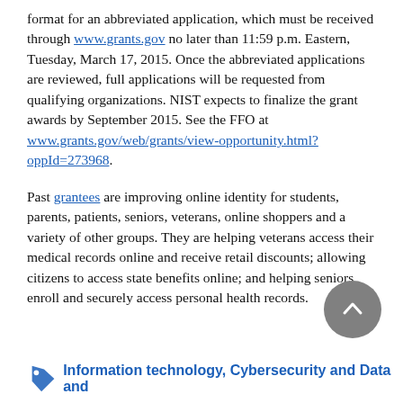format for an abbreviated application, which must be received through www.grants.gov no later than 11:59 p.m. Eastern, Tuesday, March 17, 2015. Once the abbreviated applications are reviewed, full applications will be requested from qualifying organizations. NIST expects to finalize the grant awards by September 2015. See the FFO at www.grants.gov/web/grants/view-opportunity.html?oppId=273968.
Past grantees are improving online identity for students, parents, patients, seniors, veterans, online shoppers and a variety of other groups. They are helping veterans access their medical records online and receive retail discounts; allowing citizens to access state benefits online; and helping seniors enroll and securely access personal health records.
Information technology, Cybersecurity and Data and